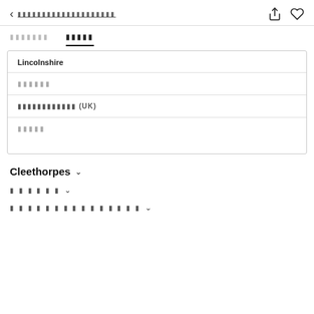< [redacted text] [share icon] [heart icon]
[tab 1] [tab 2 - active]
Lincolnshire
[redacted]
[redacted] (UK)
[redacted]
Cleethorpes ∨
[redacted] ∨
[redacted] ∨